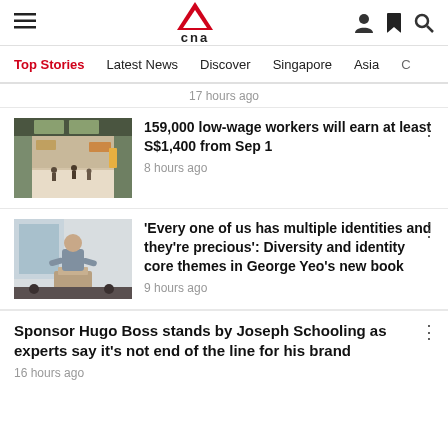CNA - Top Stories
17 hours ago
159,000 low-wage workers will earn at least S$1,400 from Sep 1
8 hours ago
'Every one of us has multiple identities and they're precious': Diversity and identity core themes in George Yeo's new book
9 hours ago
Sponsor Hugo Boss stands by Joseph Schooling as experts say it's not end of the line for his brand
16 hours ago